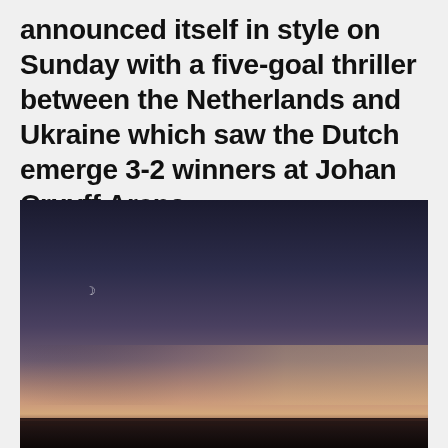announced itself in style on Sunday with a five-goal thriller between the Netherlands and Ukraine which saw the Dutch emerge 3-2 winners at Johan Cruyff Arena
[Figure (photo): A twilight/dusk photograph of a seascape showing a dark sky graduating from deep blue-black at the top to warm orange and golden hues near the horizon, with calm water visible at the bottom. A small crescent moon is faintly visible in the upper left area of the sky.]